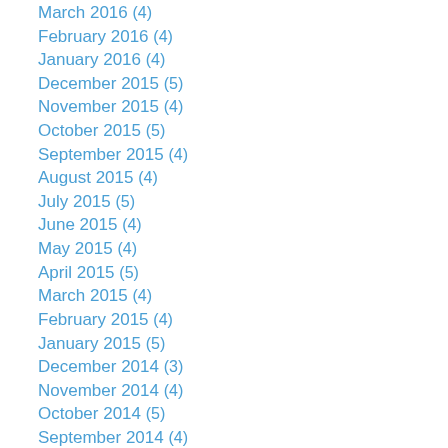March 2016 (4)
February 2016 (4)
January 2016 (4)
December 2015 (5)
November 2015 (4)
October 2015 (5)
September 2015 (4)
August 2015 (4)
July 2015 (5)
June 2015 (4)
May 2015 (4)
April 2015 (5)
March 2015 (4)
February 2015 (4)
January 2015 (5)
December 2014 (3)
November 2014 (4)
October 2014 (5)
September 2014 (4)
August 2014 (5)